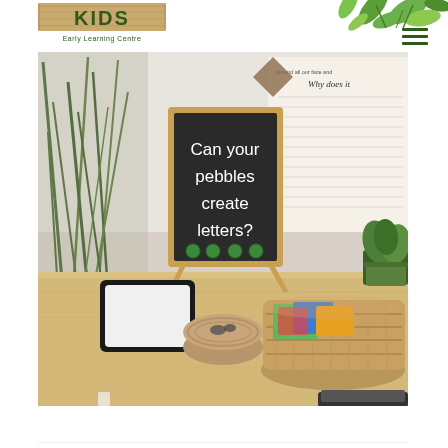KIDS Early Learning Centre
[Figure (photo): A classroom activity table with a chalkboard sign reading 'Can your pebbles create letters?' with green pebbles arranged below the text. On the table there is a light wood surface with a whiteboard/iPad, a small woven basket bowl with pebbles, a larger woven basket tray with colorful cards/materials, and a small potted green plant. In the background there is a written document on white paper partially visible, and a tall decorative grass plant on the left.]